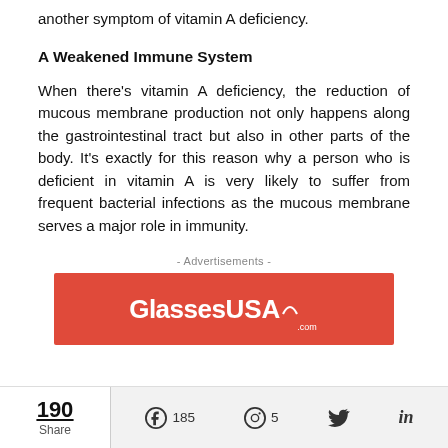another symptom of vitamin A deficiency.
A Weakened Immune System
When there’s vitamin A deficiency, the reduction of mucous membrane production not only happens along the gastrointestinal tract but also in other parts of the body. It’s exactly for this reason why a person who is deficient in vitamin A is very likely to suffer from frequent bacterial infections as the mucous membrane serves a major role in immunity.
- Advertisements -
[Figure (logo): GlassesUSA.com advertisement banner with red background and white logo text]
190 Share  185  5